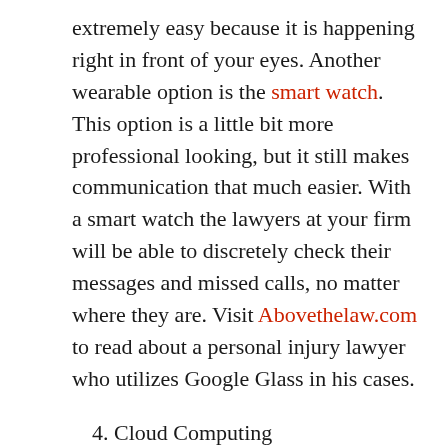extremely easy because it is happening right in front of your eyes. Another wearable option is the smart watch. This option is a little bit more professional looking, but it still makes communication that much easier. With a smart watch the lawyers at your firm will be able to discretely check their messages and missed calls, no matter where they are. Visit Abovethelaw.com to read about a personal injury lawyer who utilizes Google Glass in his cases.
4. Cloud Computing
Your firm probably has already considered investing in cloud computing. If your firm has not done this already, then they should embrace the cloud by the end of 2015. Cloud computing is more